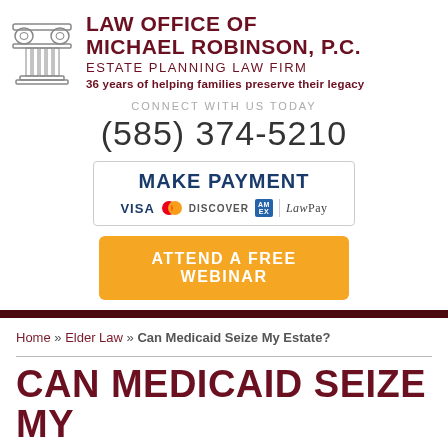[Figure (logo): Law Office of Michael Robinson, P.C. logo with Greek column capital icon and firm name text]
CONNECT WITH US TODAY
(585) 374-5210
[Figure (infographic): Make Payment box with VISA, Mastercard, Discover, AmEx, and LawPay logos]
[Figure (other): ATTEND A FREE WEBINAR button in gold/orange]
Home » Elder Law » Can Medicaid Seize My Estate?
CAN MEDICAID SEIZE MY